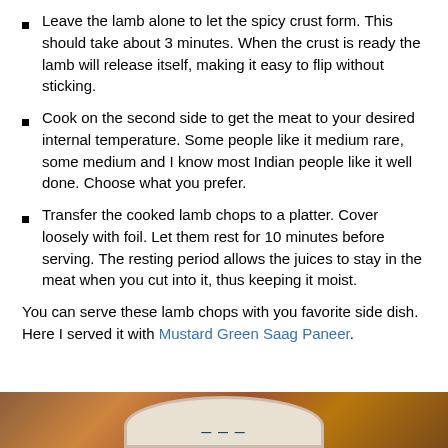Leave the lamb alone to let the spicy crust form.  This should take about 3 minutes. When the crust is ready the lamb will release itself, making it easy to flip without sticking.
Cook on the second side to get the meat to your desired internal temperature.  Some people like it medium rare, some medium and I know most Indian people like it well done.  Choose what you prefer.
Transfer the cooked lamb chops to a platter.  Cover loosely with foil.  Let them rest for 10 minutes before serving.  The resting period allows the juices to stay in the meat when you cut into it, thus keeping it moist.
You can serve these lamb chops with you favorite side dish.  Here I served it with Mustard Green Saag Paneer.
[Figure (photo): Bottom strip of a photo showing a wooden surface and a partial view of a plate with food, consistent with a food blog image.]